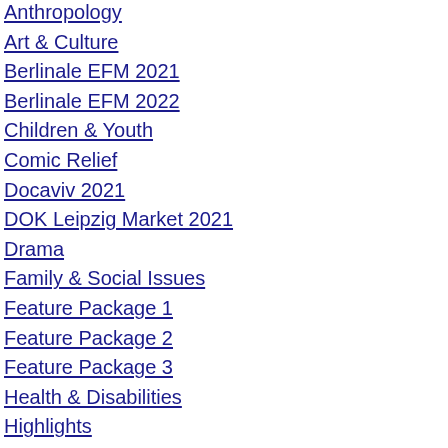Anthropology
Art & Culture
Berlinale EFM 2021
Berlinale EFM 2022
Children & Youth
Comic Relief
Docaviv 2021
DOK Leipzig Market 2021
Drama
Family & Social Issues
Feature Package 1
Feature Package 2
Feature Package 3
Health & Disabilities
Highlights
History
Holocaust
Human Rights
IDEA Docs for Sale 2021